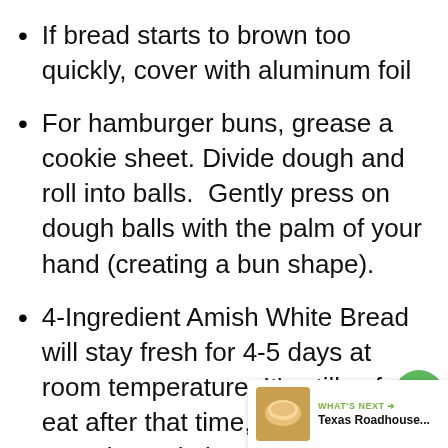If bread starts to brown too quickly, cover with aluminum foil
For hamburger buns, grease a cookie sheet. Divide dough and roll into balls.  Gently press on dough balls with the palm of your hand (creating a bun shape).
4-Ingredient Amish White Bread will stay fresh for 4-5 days at room temperature. It’s still safe to eat after that time, but it will most likely be stale by then. To store the bread after slicing, place it in a paper bag